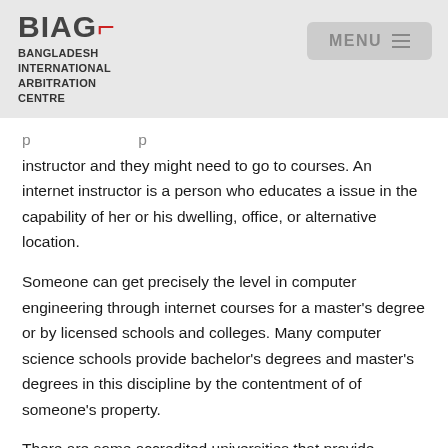BIAC BANGLADESH INTERNATIONAL ARBITRATION CENTRE
instructor and they might need to go to courses. An internet instructor is a person who educates a issue in the capability of her or his dwelling, office, or alternative location.
Someone can get precisely the level in computer engineering through internet courses for a master's degree or by licensed schools and colleges. Many computer science schools provide bachelor's degrees and master's degrees in this discipline by the contentment of of someone's property.
There are some accredited universities that provide computer engineering software. Included in these are:
The American Council on Science and Health Also Gives the